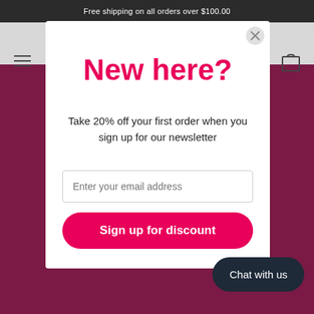Free shipping on all orders over $100.00
New here?
Take 20% off your first order when you sign up for our newsletter
Enter your email address
Sign up for discount
Chat with us